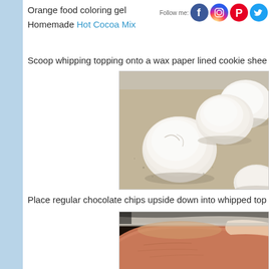Orange food coloring gel
Homemade Hot Cocoa Mix
Scoop whipping topping onto a wax paper lined cookie shee
[Figure (photo): White whipped topping scoops on a wax paper lined baking sheet, viewed from above]
Place regular chocolate chips upside down into whipped top
[Figure (photo): A finger pressing a chocolate chip upside down into whipped topping on wax paper]